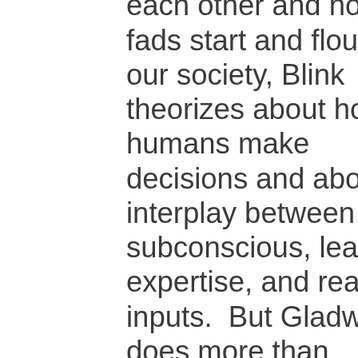how humans relate to each other and how fads start and flourish in our society, Blink theorizes about how humans make decisions and about the interplay between the subconscious, learned expertise, and real-time inputs.  But Gladwell does more than theorize — he has plenty of real world examples which